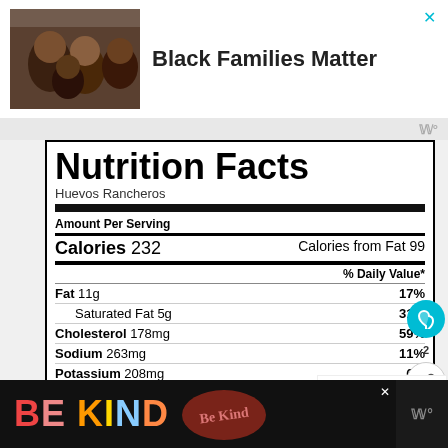[Figure (photo): Black Families Matter advertisement banner with photo of smiling Black family and bold text]
| Nutrient | Amount | % Daily Value |
| --- | --- | --- |
| Amount Per Serving |  |  |
| Calories | 232 | Calories from Fat 99 |
| Fat | 11g | 17% |
| Saturated Fat | 5g | 31% |
| Cholesterol | 178mg | 59% |
| Sodium | 263mg | 11% |
| Potassium | 208mg | 6% |
| Carbohydrates | 24g | 8% |
| Fiber | 3g | 1% |
| Sugar | 1g | 1% |
| Protein | 8g | 16% |
[Figure (infographic): What's Next widget showing Chiles Rellenos thumbnail and label]
[Figure (infographic): BE KIND advertisement banner on dark background]